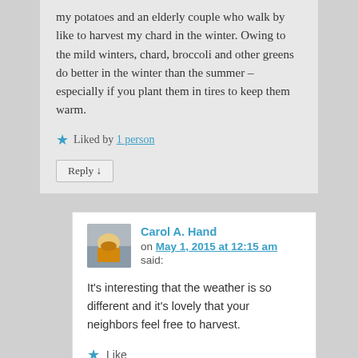my potatoes and an elderly couple who walk by like to harvest my chard in the winter. Owing to the mild winters, chard, broccoli and other greens do better in the winter than the summer – especially if you plant them in tires to keep them warm.
★ Liked by 1 person
Reply ↓
Carol A. Hand
on May 1, 2015 at 12:15 am
said:
It's interesting that the weather is so different and it's lovely that your neighbors feel free to harvest.
★ Like